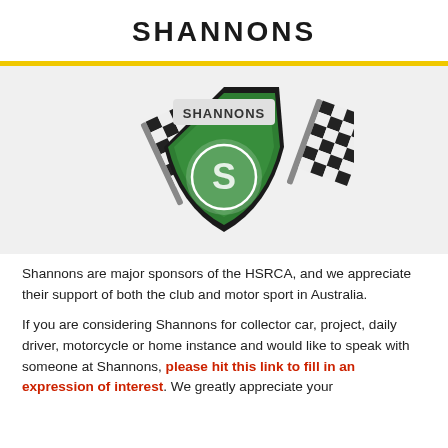SHANNONS
[Figure (logo): Shannons logo: a green shield with 'SHANNONS' text and stylized S symbol, flanked by two crossed checkered racing flags]
Shannons are major sponsors of the HSRCA, and we appreciate their support of both the club and motor sport in Australia.
If you are considering Shannons for collector car, project, daily driver, motorcycle or home instance and would like to speak with someone at Shannons, please hit this link to fill in an expression of interest. We greatly appreciate your